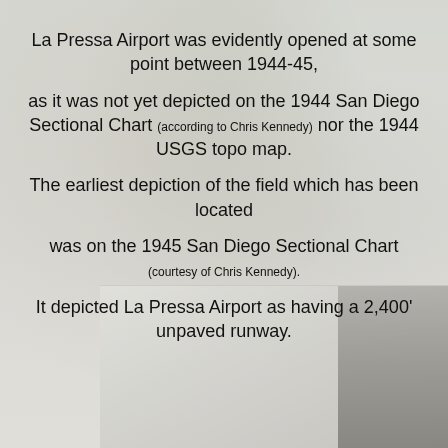La Pressa Airport was evidently opened at some point between 1944-45, as it was not yet depicted on the 1944 San Diego Sectional Chart (according to Chris Kennedy) nor the 1944 USGS topo map. The earliest depiction of the field which has been located was on the 1945 San Diego Sectional Chart (courtesy of Chris Kennedy). It depicted La Pressa Airport as having a 2,400' unpaved runway.
[Figure (photo): Faded background photo of aircraft wreckage or junkyard, with a foreground image at the bottom right showing what appears to be airport equipment or a vehicle.]